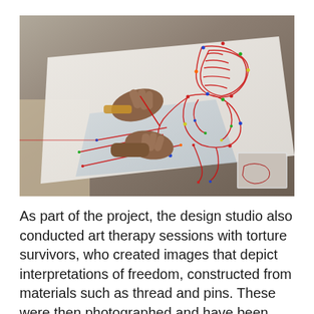[Figure (photo): Close-up photograph of a person's hands working on a string art or pin-and-thread artwork on a white board, creating an outline figure using red thread and colourful pins on a flat surface. A completed similar artwork is visible in the upper right of the board.]
As part of the project, the design studio also conducted art therapy sessions with torture survivors, who created images that depict interpretations of freedom, constructed from materials such as thread and pins. These were then photographed and have been turned into postcards, which will be sold to raise money for the